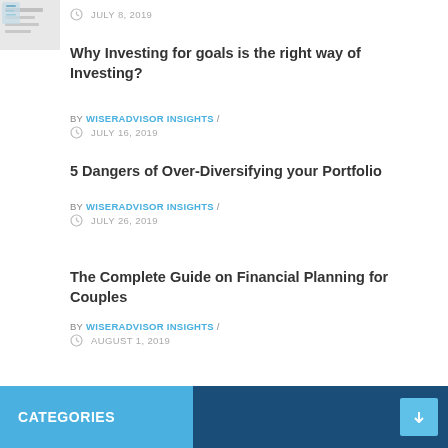[Figure (illustration): Partial thumbnail image of a financial document/article, cropped at top-left]
JULY 8, 2019
Why Investing for goals is the right way of Investing?
BY WISERADVISOR INSIGHTS /
JULY 16, 2019
5 Dangers of Over-Diversifying your Portfolio
BY WISERADVISOR INSIGHTS /
JULY 26, 2019
The Complete Guide on Financial Planning for Couples
BY WISERADVISOR INSIGHTS /
AUGUST 1, 2019
CATEGORIES